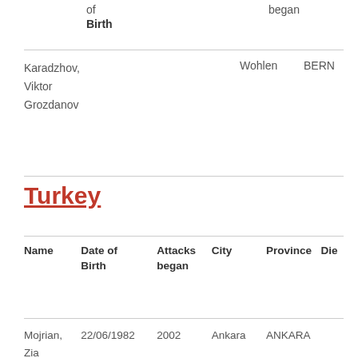| Name | Date of Birth | Attacks began | City | Province | Die |
| --- | --- | --- | --- | --- | --- |
| Karadzhov, Viktor Grozdanov |  |  | Wohlen | BERN |  |
Turkey
| Name | Date of Birth | Attacks began | City | Province | Die |
| --- | --- | --- | --- | --- | --- |
| Mojrian, Zia | 22/06/1982 | 2002 | Ankara | ANKARA |  |